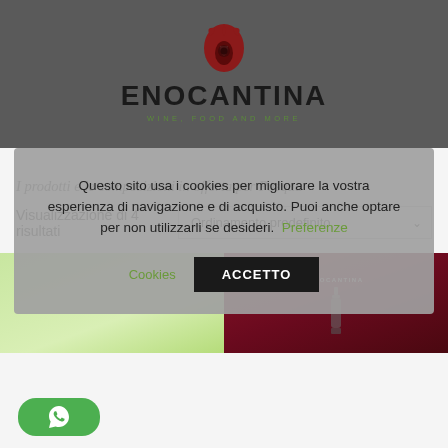[Figure (logo): Enocantina logo with red flame/leaf icon above text 'ENOCANTINA' in black bold, subtitle 'WINE, FOOD AND MORE' in green spaced letters]
Questo sito usa i cookies per migliorare la vostra esperienza di navigazione e di acquisto. Puoi anche optare per non utilizzarli se desideri. Preferenze
Cookies   ACCETTO
I prodotti e le composizioni in offerta per Pasqua
Visualizzazione di 4 risultati
Ordinamento predefinito
[Figure (photo): Two product thumbnails side by side: left shows a light green/yellow background with a dark object, right shows a dark red/maroon background with Enocantina branded wine bottle]
[Figure (logo): WhatsApp green rounded button with WhatsApp phone icon]